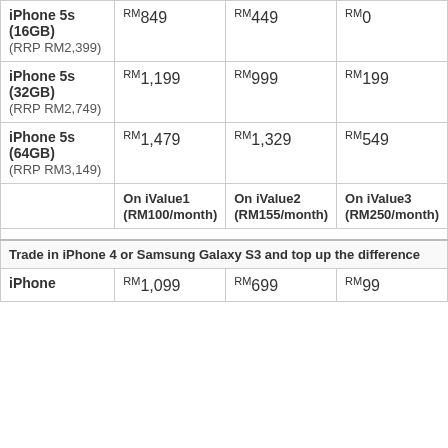|  | On iValue1 (RM100/month) | On iValue2 (RM155/month) | On iValue3 (RM250/month) |
| --- | --- | --- | --- |
| iPhone 5s (16GB) (RRP RM2,399) | RM849 | RM449 | RM0 |
| iPhone 5s (32GB) (RRP RM2,749) | RM1,199 | RM999 | RM199 |
| iPhone 5s (64GB) (RRP RM3,149) | RM1,479 | RM1,329 | RM549 |
|  | On iValue1 (RM100/month) | On iValue2 (RM155/month) | On iValue3 (RM250/month) |
| Trade in iPhone 4 or Samsung Galaxy S3 and top up the difference |  |  |  |
| iPhone | RM1,099 | RM699 | RM99 |